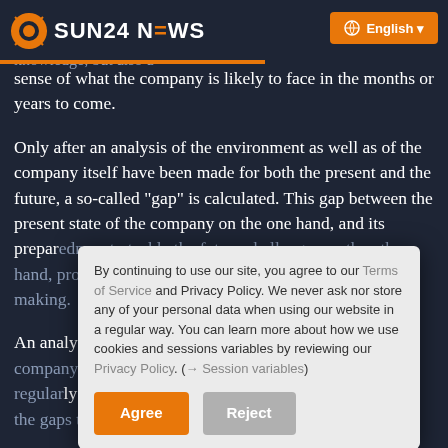SUN24 NEWS
especially also from a future point of view. Making progress requires not only extremely sensitive antennas and a great deal of knowledge, but also a sense of what the company is likely to face in the months or years to come.
Only after an analysis of the environment as well as of the company itself have been made for both the present and the future, a so-called "gap" is calculated. This gap between the present state of the company on the one hand, and its preparedness to tackle the future challenges on the other hand, provides the basis for comprehensive decision-making.
An analysis of the competitive environment of the company is of crucial importance and which must be regularly updated – and along with it the calculations of the gaps towards the present entrepreneurial conditions.
By continuing to use our site, you agree to our Terms of Service and Privacy Policy. We never ask nor store any of your personal data when using our website in a regular way. You can learn more about how we use cookies and sessions variables by reviewing our Privacy Policy. (→ Session variables)